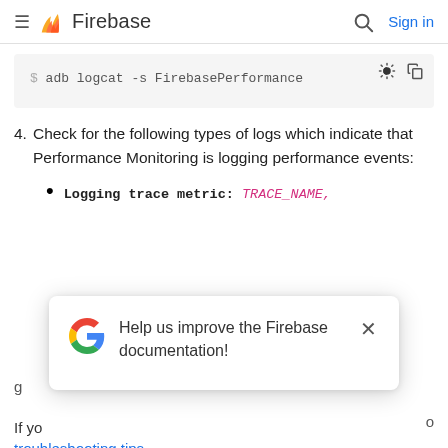Firebase — Sign in
[Figure (screenshot): Code block showing: $ adb logcat -s FirebasePerformance]
4. Check for the following types of logs which indicate that Performance Monitoring is logging performance events:
Logging trace metric: TRACE_NAME,
[Figure (other): Google feedback popup: Help us improve the Firebase documentation!]